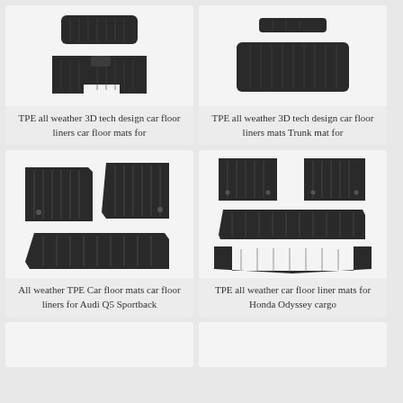[Figure (photo): Black TPE car floor mat set - top view showing front and rear mats]
TPE all weather 3D tech design car floor liners car floor mats for
[Figure (photo): Black TPE car trunk/cargo mat - rectangular with ridges]
TPE all weather 3D tech design car floor liners mats Trunk mat for
[Figure (photo): Black TPE car floor mat set for Audi Q5 Sportback - front and rear mats]
All weather TPE Car floor mats car floor liners for Audi Q5 Sportback
[Figure (photo): Black TPE car floor liner mats for Honda Odyssey cargo - full set with multiple rows]
TPE all weather car floor liner mats for Honda Odyssey cargo
[Figure (photo): Partially visible product card at bottom left]
[Figure (photo): Partially visible product card at bottom right]